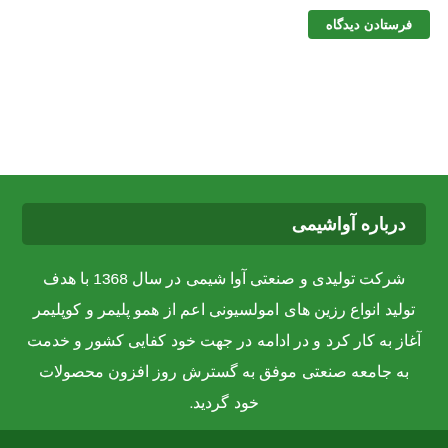فرستادن دیدگاه
درباره آواشیمی
شرکت تولیدی و صنعتی آوا شیمی در سال 1368 با هدف تولید انواع رزین های امولسیونی اعم از همو پلیمر و کوپلیمر آغاز به کار کرد و در ادامه در جهت خود کفایی کشور و خدمت به جامعه صنعتی موفق به گسترش روز افزون محصولات خود گردید.